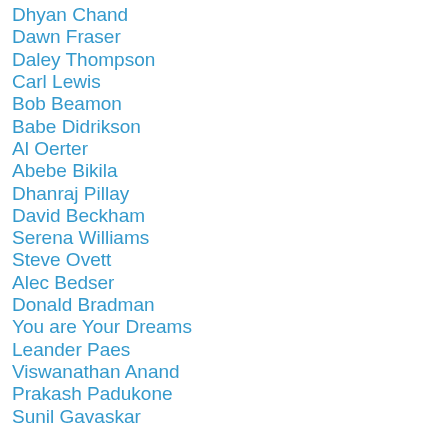Dhyan Chand
Dawn Fraser
Daley Thompson
Carl Lewis
Bob Beamon
Babe Didrikson
Al Oerter
Abebe Bikila
Dhanraj Pillay
David Beckham
Serena Williams
Steve Ovett
Alec Bedser
Donald Bradman
You are Your Dreams
Leander Paes
Viswanathan Anand
Prakash Padukone
Sunil Gavaskar